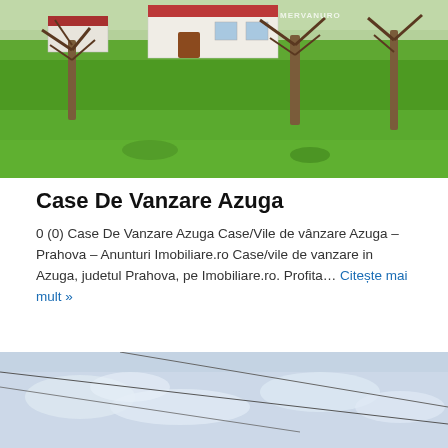[Figure (photo): Outdoor photo of a house with a garden, green grass lawn, and bare trees in spring/early summer. A white building with red roof is visible in the background. A watermark reading MERVANURO is visible at the top.]
Case De Vanzare Azuga
0 (0) Case De Vanzare Azuga Case/Vile de vânzare Azuga – Prahova – Anunturi Imobiliare.ro Case/vile de vanzare in Azuga, judetul Prahova, pe Imobiliare.ro. Profita… Citește mai mult »
[Figure (photo): Outdoor photo showing a sky with light clouds and power lines crossing diagonally across the frame.]